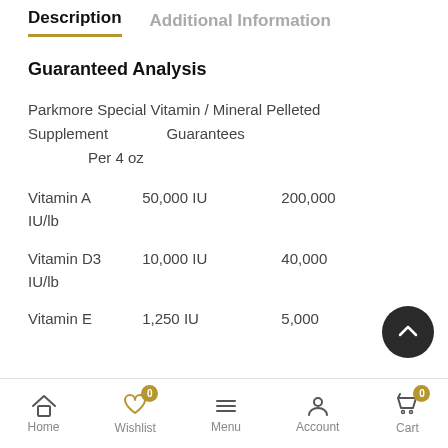Description   Additional Information
Guaranteed Analysis
Parkmore Special Vitamin / Mineral Pelleted Supplement                 Guarantees
        Per 4 oz
Vitamin A       50,000 IU                  200,000 IU/lb
Vitamin D3      10,000 IU                  40,000 IU/lb
Vitamin E       1,250 IU                   5,000
Home   Wishlist 0   Menu   Account   Cart 0